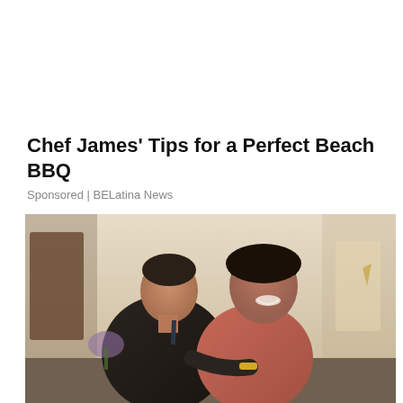Chef James' Tips for a Perfect Beach BBQ
Sponsored | BELatina News
[Figure (photo): A man in a dark suit leaning in close to a smiling woman in a red top, photographed indoors in an elegant room.]